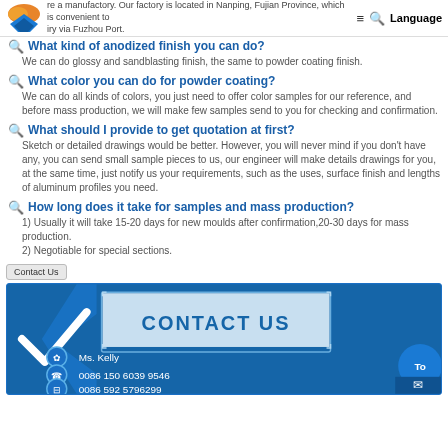Are you a trading company or manufacturer? We are a manufactory. Our factory is located in Nanping, Fujian Province, which is convenient to delivery via Fuzhou Port. | Language
What kind of anodized finish you can do?
We can do glossy and sandblasting finish, the same to powder coating finish.
What color you can do for powder coating?
We can do all kinds of colors, you just need to offer color samples for our reference, and before mass production, we will make few samples send to you for checking and confirmation.
What should I provide to get quotation at first?
Sketch or detailed drawings would be better. However, you will never mind if you don't have any, you can send small sample pieces to us, our engineer will make details drawings for you, at the same time, just notify us your requirements, such as the uses, surface finish and lengths of aluminum profiles you need.
How long does it take for samples and mass production?
1) Usually it will take 15-20 days for new moulds after confirmation, 20-30 days for mass production.
2) Negotiable for special sections.
Contact Us
[Figure (infographic): Contact Us panel with blue background, checkmark/chevron graphic on the left, a box labeled CONTACT US in the center, and contact info: Ms. Kelly, 0086 150 6039 9546, 0086 592 5796299]